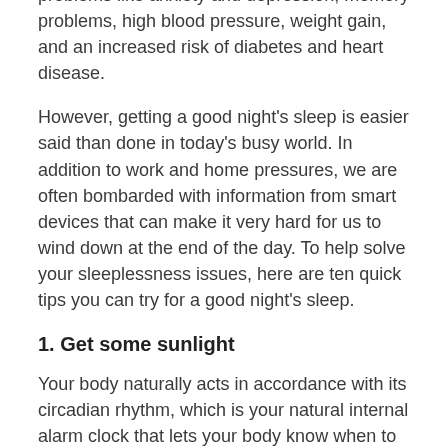problems like anxiety and depression, memory problems, high blood pressure, weight gain, and an increased risk of diabetes and heart disease.
However, getting a good night's sleep is easier said than done in today's busy world. In addition to work and home pressures, we are often bombarded with information from smart devices that can make it very hard for us to wind down at the end of the day. To help solve your sleeplessness issues, here are ten quick tips you can try for a good night's sleep.
1. Get some sunlight
Your body naturally acts in accordance with its circadian rhythm, which is your natural internal alarm clock that lets your body know when to wake and sleep. Many of us spend too much time inside during the day, which impacts